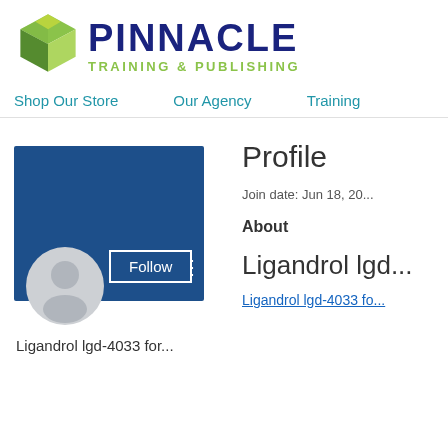[Figure (logo): Pinnacle Training & Publishing logo with green 3D cube and dark blue bold text]
Shop Our Store   Our Agency   Training
Profile
Join date: Jun 18, 20...
About
Ligandrol lgd...
[Figure (photo): User profile card with dark blue background, grey avatar silhouette, Follow button, and vertical dots menu]
Ligandrol lgd-4033 for...
Ligandrol lgd-4033 fo...